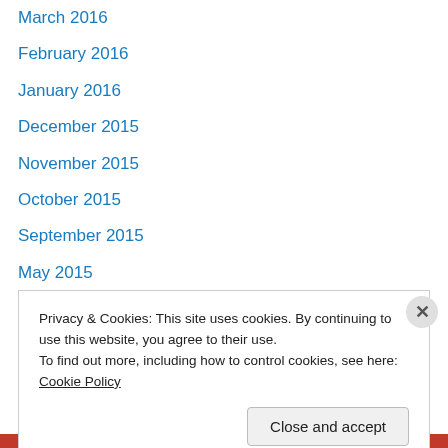March 2016
February 2016
January 2016
December 2015
November 2015
October 2015
September 2015
May 2015
April 2015
March 2015
February 2015
January 2015
December 2014
Privacy & Cookies: This site uses cookies. By continuing to use this website, you agree to their use.
To find out more, including how to control cookies, see here: Cookie Policy
Close and accept